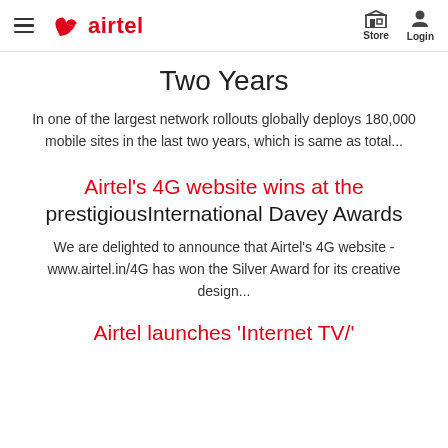airtel | Store | Login
Two Years
In one of the largest network rollouts globally deploys 180,000 mobile sites in the last two years, which is same as total...
Airtel's 4G website wins at the prestigiousInternational Davey Awards
We are delighted to announce that Airtel's 4G website - www.airtel.in/4G has won the Silver Award for its creative design...
Airtel launches 'Internet TV/'